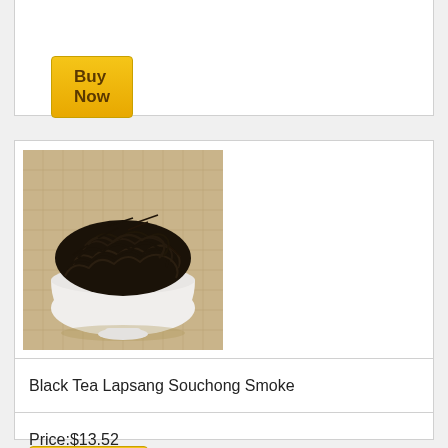[Figure (other): Buy Now button (partial top card)]
[Figure (photo): Photo of black tea leaves (Lapsang Souchong) piled in a white ceramic bowl on a burlap background]
Black Tea Lapsang Souchong Smoke
Price:$13.52
[Figure (other): Buy Now button]